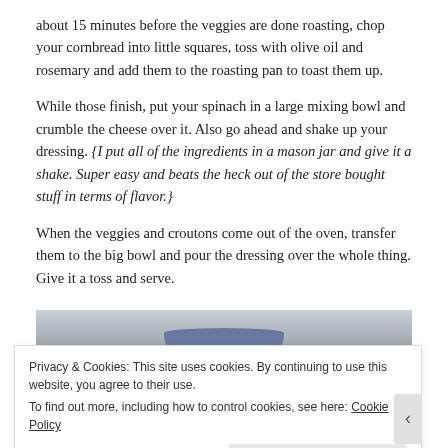about 15 minutes before the veggies are done roasting, chop your cornbread into little squares, toss with olive oil and rosemary and add them to the roasting pan to toast them up.
While those finish, put your spinach in a large mixing bowl and crumble the cheese over it. Also go ahead and shake up your dressing. {I put all of the ingredients in a mason jar and give it a shake. Super easy and beats the heck out of the store bought stuff in terms of flavor.}
When the veggies and croutons come out of the oven, transfer them to the big bowl and pour the dressing over the whole thing. Give it a toss and serve.
[Figure (photo): Partial view of a bowl with food, photographed from above on a light background]
Privacy & Cookies: This site uses cookies. By continuing to use this website, you agree to their use. To find out more, including how to control cookies, see here: Cookie Policy